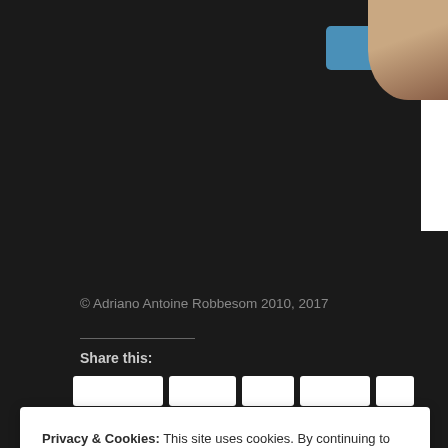[Figure (screenshot): Apply button on a white card area, blue rounded rectangle with white text 'Apply']
[Figure (photo): Circular cropped profile photo of a person in the top-right corner]
© Adriano Antoine Robbesom 2010, 2017
Share this:
Privacy & Cookies: This site uses cookies. By continuing to use this website, you agree to their use.
To find out more, including how to control cookies, see here: Cookie Policy
Close and accept